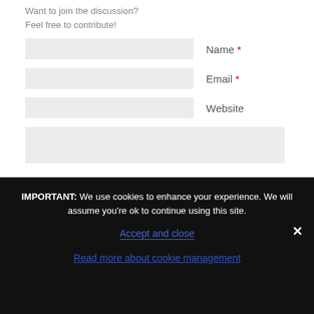Want to join the discussion?
Feel free to contribute!
Name *
Email *
Website
IMPORTANT: We use cookies to enhance your experience. We will assume you're ok to continue using this site.
Accept and close
Read more about cookie management